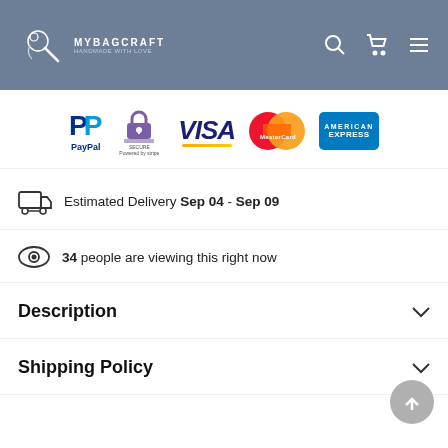MYBAGCRAFT
[Figure (logo): Payment method logos: PayPal, Secure (Stripe), VISA, MasterCard, American Express]
Estimated Delivery Sep 04 - Sep 09
34 people are viewing this right now
Description
Shipping Policy